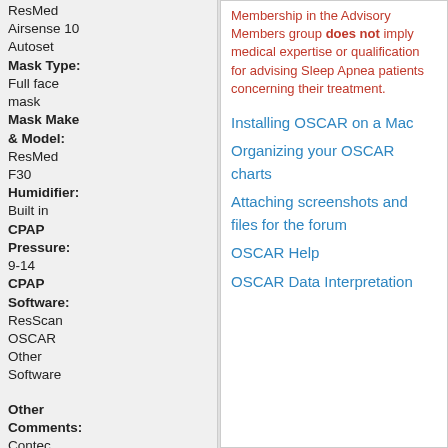ResMed Airsense 10 Autoset
Mask Type: Full face mask
Mask Make & Model: ResMed F30
Humidifier: Built in
CPAP Pressure: 9-14
CPAP Software: ResScan OSCAR Other Software
Other Comments: Contec CMS50F - V6.1 w/ Smart Device
Membership in the Advisory Members group does not imply medical expertise or qualification for advising Sleep Apnea patients concerning their treatment.
Installing OSCAR on a Mac
Organizing your OSCAR charts
Attaching screenshots and files for the forum
OSCAR Help
OSCAR Data Interpretation